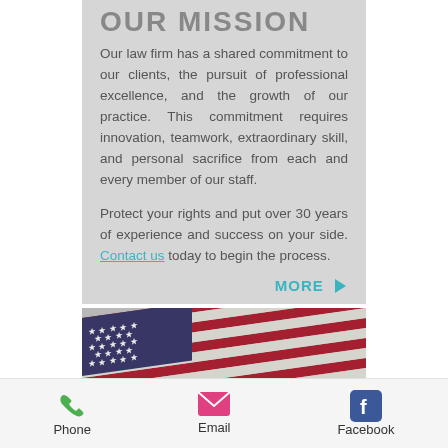OUR MISSION
Our law firm has a shared commitment to our clients, the pursuit of professional excellence, and the growth of our practice. This commitment requires innovation, teamwork, extraordinary skill, and personal sacrifice from each and every member of our staff.
Protect your rights and put over 30 years of experience and success on your side. Contact us today to begin the process.
MORE ▶
[Figure (photo): Close-up photograph of an American flag showing stars and red and white stripes]
Phone   Email   Facebook